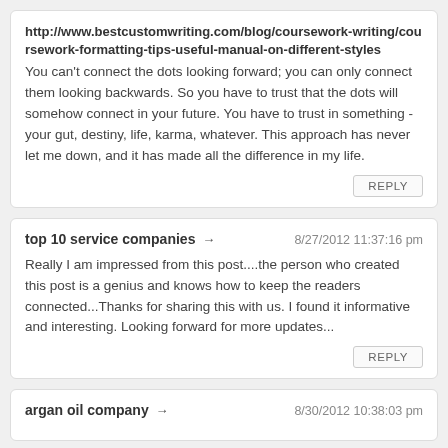http://www.bestcustomwriting.com/blog/coursework-writing/coursework-formatting-tips-useful-manual-on-different-styles You can't connect the dots looking forward; you can only connect them looking backwards. So you have to trust that the dots will somehow connect in your future. You have to trust in something - your gut, destiny, life, karma, whatever. This approach has never let me down, and it has made all the difference in my life.
REPLY
top 10 service companies ➜  8/27/2012 11:37:16 pm
Really I am impressed from this post....the person who created this post is a genius and knows how to keep the readers connected...Thanks for sharing this with us. I found it informative and interesting. Looking forward for more updates...
REPLY
argan oil company ➜  8/30/2012 10:38:03 pm